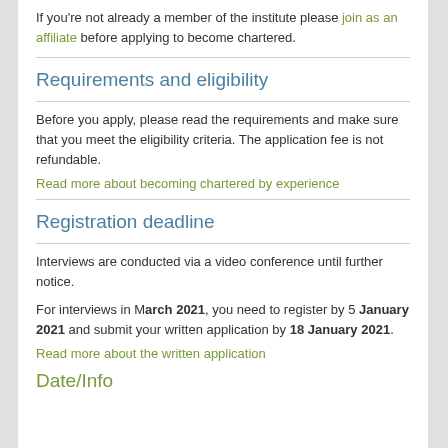If you're not already a member of the institute please join as an affiliate before applying to become chartered.
Requirements and eligibility
Before you apply, please read the requirements and make sure that you meet the eligibility criteria. The application fee is not refundable.
Read more about becoming chartered by experience
Registration deadline
Interviews are conducted via a video conference until further notice.
For interviews in March 2021, you need to register by 5 January 2021 and submit your written application by 18 January 2021.
Read more about the written application
Date/Info